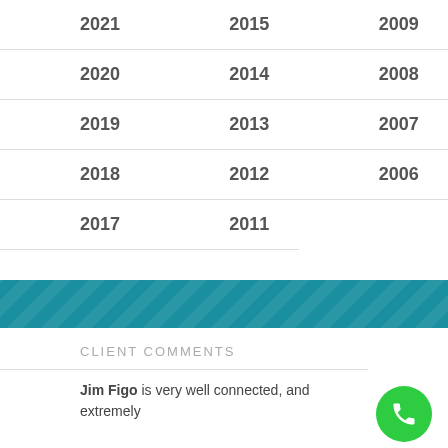| 2021 | 2015 | 2009 |
| 2020 | 2014 | 2008 |
| 2019 | 2013 | 2007 |
| 2018 | 2012 | 2006 |
| 2017 | 2011 |  |
CLIENT COMMENTS
Jim Figo is very well connected, and extremely